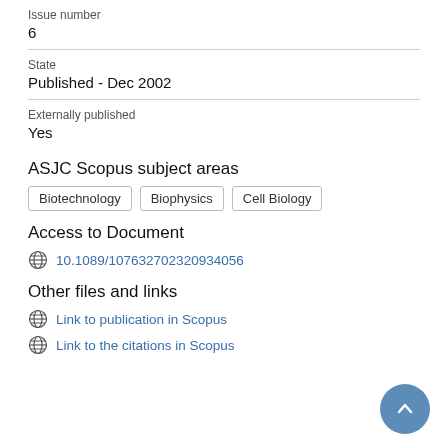Issue number
6
State
Published - Dec 2002
Externally published
Yes
ASJC Scopus subject areas
Biotechnology
Biophysics
Cell Biology
Access to Document
10.1089/107632702320934056
Other files and links
Link to publication in Scopus
Link to the citations in Scopus